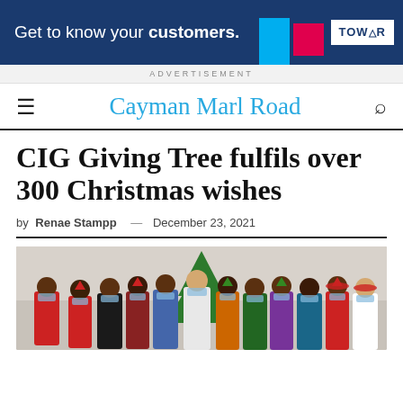[Figure (other): Tower Insurance advertisement banner: 'Get to know your customers.' with colored geometric shapes and Tower logo on dark blue background]
ADVERTISEMENT
Cayman Marl Road
CIG Giving Tree fulfils over 300 Christmas wishes
by Renae Stampp — December 23, 2021
[Figure (photo): Group photo of approximately 15 people wearing face masks and Christmas hats/accessories standing in front of a decorated Christmas tree indoors.]